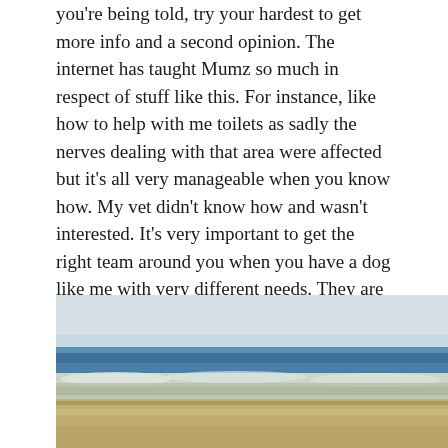you're being told, try your hardest to get more info and a second opinion. The internet has taught Mumz so much in respect of stuff like this. For instance, like how to help with me toilets as sadly the nerves dealing with that area were affected but it's all very manageable when you know how. My vet didn't know how and wasn't interested. It's very important to get the right team around you when you have a dog like me with very different needs. They are out there, the experts, you just need to find them.
[Figure (photo): A blurred beach scene showing sandy shore, white surf/waves, blue ocean water, and a pale grey-blue sky.]